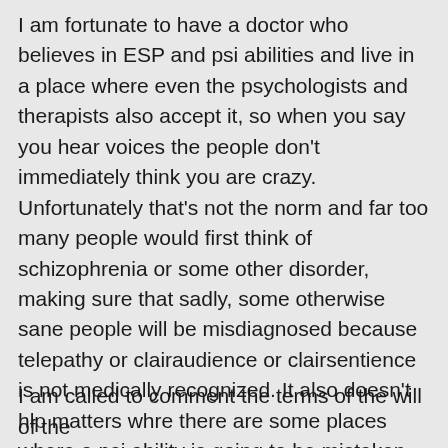I am fortunate to have a doctor who believes in ESP and psi abilities and live in a place where even the psychologists and therapists also accept it, so when you say you hear voices the people don't immediately think you are crazy. Unfortunately that's not the norm and far too many people would first think of schizophrenia or some other disorder, making sure that sadly, some otherwise sane people will be misdiagnosed because telepathy or clairaudience or clairsentience is not medically recognized. It also doesn't hlp matters whre there are some places where a psi ability is going to be mistaken as some kind of evil work of the devil, leading to suppression and maybe bad mntal consequences because those abilities are being suppressed. when psi is involved, nothing is ever easy– or simple.
I am called to comment the terms of the will of the...